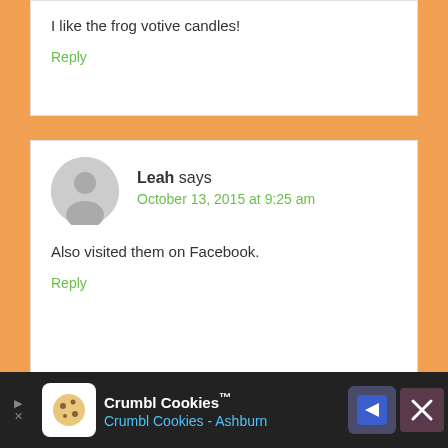I like the frog votive candles!
Reply
Leah says
October 13, 2015 at 9:25 am
Also visited them on Facebook.
Reply
Melissa says
Crumbl Cookies™ Crumbl Cookies - Ashburn